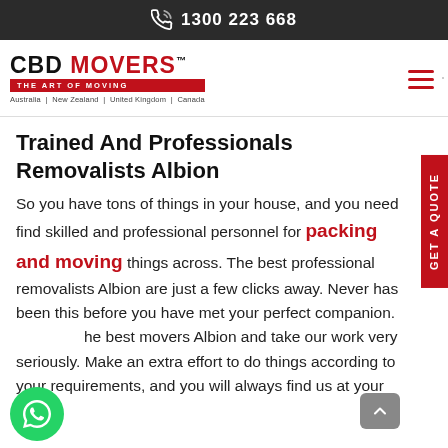1300 223 668
[Figure (logo): CBD Movers logo with tagline 'The Art of Moving' and countries: Australia | New Zealand | United Kingdom | Canada]
Trained And Professionals Removalists Albion
So you have tons of things in your house, and you need find skilled and professional personnel for packing and moving things across. The best professional removalists Albion are just a few clicks away. Never has been this before you have met your perfect companion. We are the best movers Albion and take our work very seriously. Make an extra effort to do things according to your requirements, and you will always find us at your disposal. Our removalists Albion will make the process simpler.